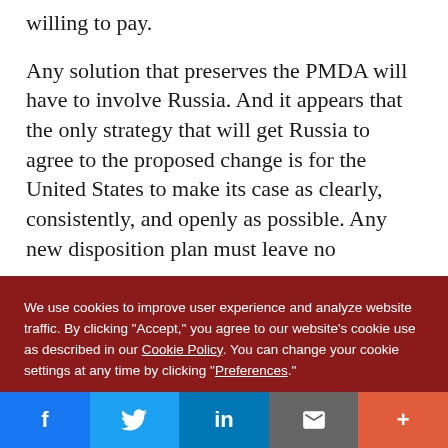willing to pay.
Any solution that preserves the PMDA will have to involve Russia. And it appears that the only strategy that will get Russia to agree to the proposed change is for the United States to make its case as clearly, consistently, and openly as possible. Any new disposition plan must leave no
We use cookies to improve user experience and analyze website traffic. By clicking "Accept," you agree to our website's cookie use as described in our Cookie Policy. You can change your cookie settings at any time by clicking "Preferences."